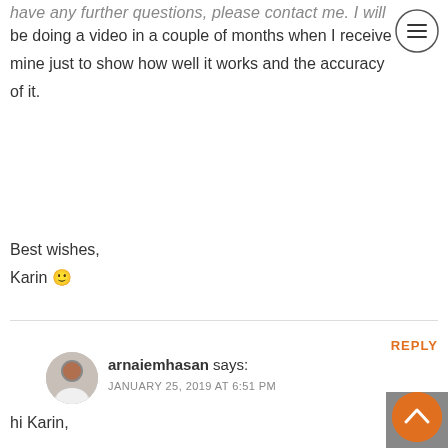have any further questions, please contact me. I will be doing a video in a couple of months when I receive mine just to show how well it works and the accuracy of it.
Best wishes,
Karin 🙂
REPLY
arnaiemhasan says:
JANUARY 25, 2019 AT 6:51 PM
hi Karin,